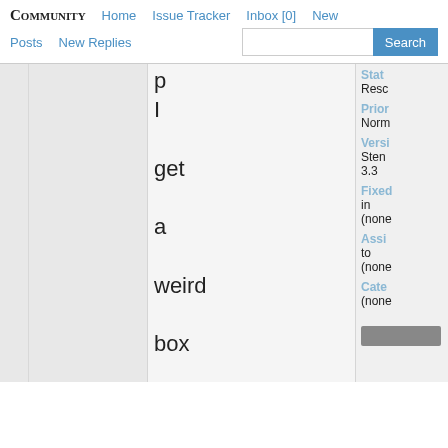COMMUNITY  Home  Issue Tracker  Inbox [0]  New  Posts  New Replies  Search
I get a weird box and it does not allow me to access the preferences

In
Stat
Resc
Prior
Norm
Versi
Sten 3.3
Fixed in
(none
Assig to
(none
Cate
(none